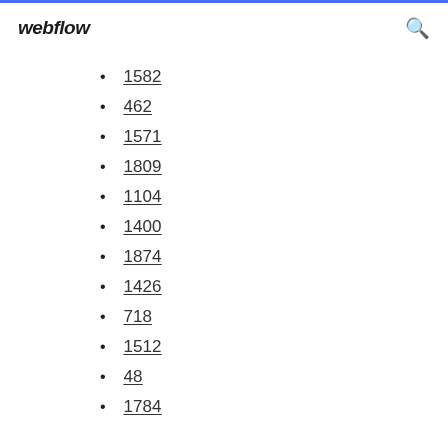webflow
1582
462
1571
1809
1104
1400
1874
1426
718
1512
48
1784